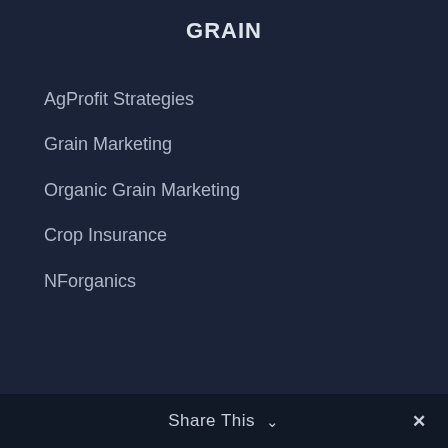GRAIN
AgProfit Strategies
Grain Marketing
Organic Grain Marketing
Crop Insurance
NForganics
Share This ∨ ✕